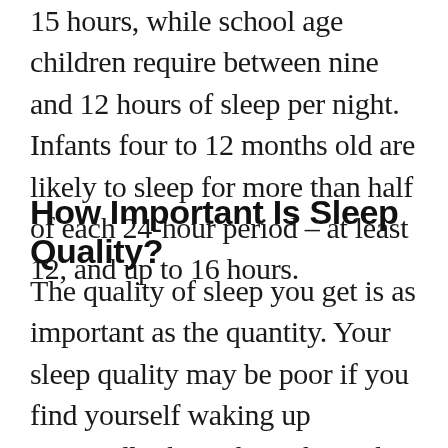15 hours, while school age children require between nine and 12 hours of sleep per night. Infants four to 12 months old are likely to sleep for more than half of each 24-hour period – at least 12, and up to 16 hours.
How Important Is Sleep Quality?
The quality of sleep you get is as important as the quantity. Your sleep quality may be poor if you find yourself waking up repeatedly throughout the night, snoring or gasping for air, or if you still feel tired or lack energy after sleeping for long enough that you should feel well-rested. Check with your doctor if you are